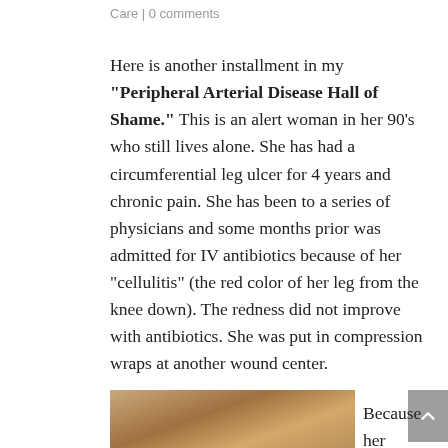Care | 0 comments
Here is another installment in my "Peripheral Arterial Disease Hall of Shame." This is an alert woman in her 90’s who still lives alone. She has had a circumferential leg ulcer for 4 years and chronic pain. She has been to a series of physicians and some months prior was admitted for IV antibiotics because of her “cellulitis” (the red color of her leg from the knee down). The redness did not improve with antibiotics. She was put in compression wraps at another wound center.
[Figure (photo): Photograph of a patient's foot and lower leg showing skin discoloration consistent with peripheral arterial disease]
Because her foot and leg